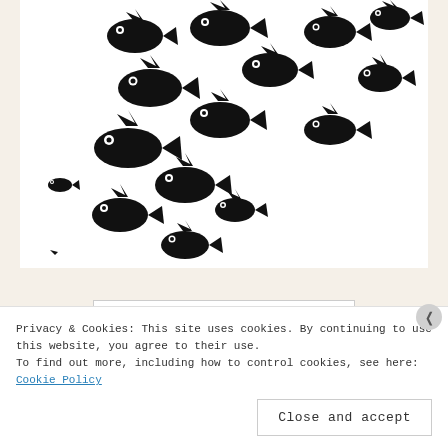[Figure (illustration): Black silhouette fish/bird creatures swimming/flying diagonally across a white background, in an Escher-like tessellation style. Multiple black fish shapes of varying sizes arranged in a scattered pattern moving from lower-left to upper-right.]
Older posts
Privacy & Cookies: This site uses cookies. By continuing to use this website, you agree to their use.
To find out more, including how to control cookies, see here: Cookie Policy
Close and accept